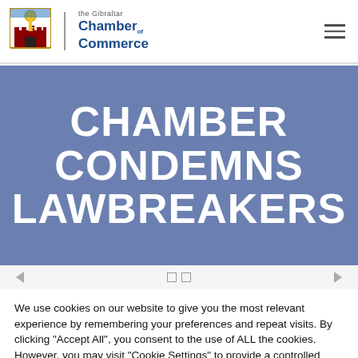[Figure (logo): The Gibraltar Chamber of Commerce logo with coat of arms and text]
CHAMBER CONDEMNS LAWBREAKERS
We use cookies on our website to give you the most relevant experience by remembering your preferences and repeat visits. By clicking "Accept All", you consent to the use of ALL the cookies. However, you may visit "Cookie Settings" to provide a controlled consent.
Cookie Settings | Accept All